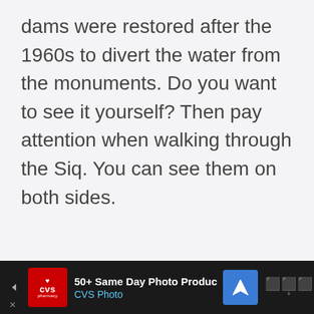dams were restored after the 1960s to divert the water from the monuments. Do you want to see it yourself? Then pay attention when walking through the Siq. You can see them on both sides.
[Figure (other): Advertisement banner for CVS Photo: '50+ Same Day Photo Products' with CVS Pharmacy logo, navigation arrow icon, and weather/score widget on the right.]